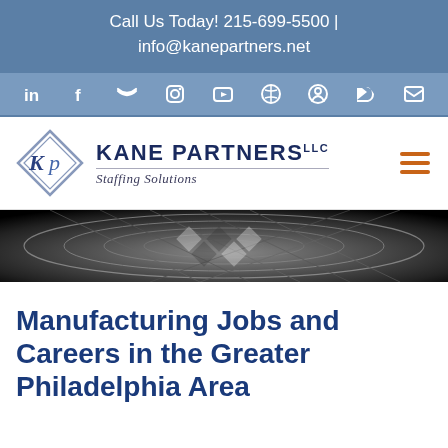Call Us Today! 215-699-5500 | info@kanepartners.net
[Figure (infographic): Social media icon bar with icons for LinkedIn, Facebook, Twitter, Instagram, YouTube, Pinterest, Reddit, RSS, and Email on a medium blue background]
[Figure (logo): Kane Partners LLC Staffing Solutions logo with diamond KP monogram]
[Figure (photo): Abstract black and white geometric/industrial hero banner image]
Manufacturing Jobs and Careers in the Greater Philadelphia Area